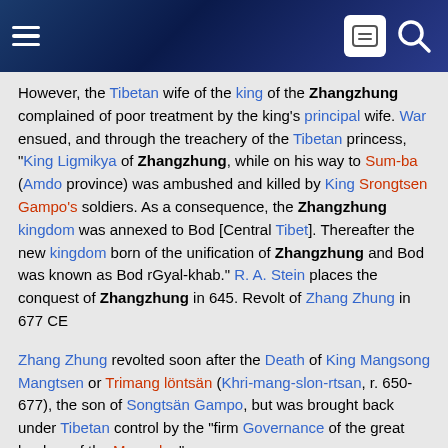Wikipedia page header with hamburger menu and search icon
However, the Tibetan wife of the king of the Zhangzhung complained of poor treatment by the king's principal wife. War ensued, and through the treachery of the Tibetan princess, "King Ligmikya of Zhangzhung, while on his way to Sum-ba (Amdo province) was ambushed and killed by King Srongtsen Gampo's soldiers. As a consequence, the Zhangzhung kingdom was annexed to Bod [Central Tibet]. Thereafter the new kingdom born of the unification of Zhangzhung and Bod was known as Bod rGyal-khab." R. A. Stein places the conquest of Zhangzhung in 645. Revolt of Zhang Zhung in 677 CE
Zhang Zhung revolted soon after the Death of King Mangsong Mangtsen or Trimang löntsän (Khri-mang-slon-rtsan, r. 650-677), the son of Songtsän Gampo, but was brought back under Tibetan control by the "firm Governance of the great leaders of the Mgar clan".
The Zhangzhung Language